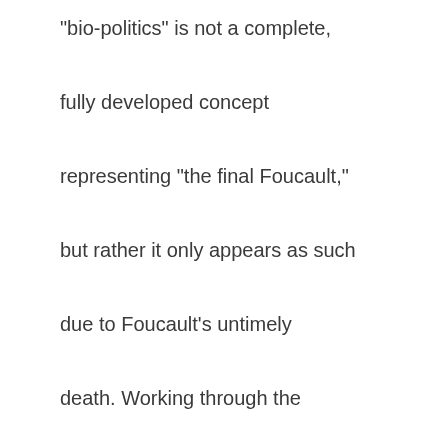“bio-politics” is not a complete, fully developed concept representing “the final Foucault,” but rather it only appears as such due to Foucault’s untimely death. Working through the concept of bio-politics via psychiatry, Vittorio presents a short genealogy of its transformation into bio-security.

A large part of this essay has been potentially unduly critical of